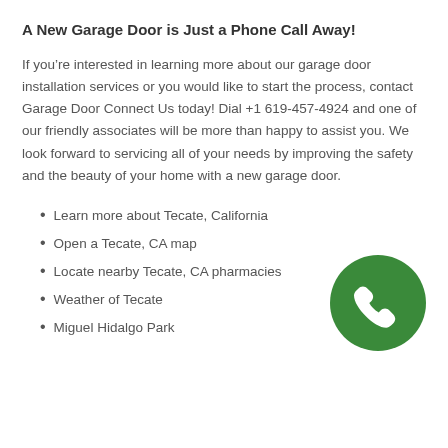A New Garage Door is Just a Phone Call Away!
If you’re interested in learning more about our garage door installation services or you would like to start the process, contact Garage Door Connect Us today! Dial +1 619-457-4924 and one of our friendly associates will be more than happy to assist you. We look forward to servicing all of your needs by improving the safety and the beauty of your home with a new garage door.
Learn more about Tecate, California
Open a Tecate, CA map
Locate nearby Tecate, CA pharmacies
Weather of Tecate
Miguel Hidalgo Park
[Figure (illustration): Green circular phone icon with white handset symbol]